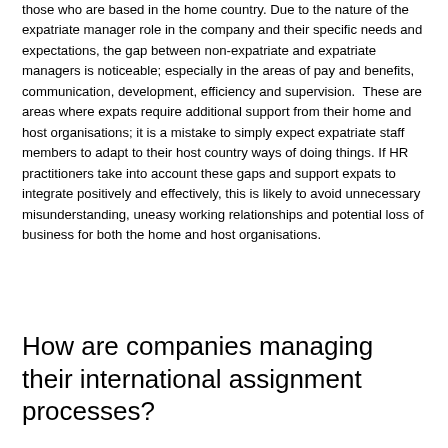those who are based in the home country. Due to the nature of the expatriate manager role in the company and their specific needs and expectations, the gap between non-expatriate and expatriate managers is noticeable; especially in the areas of pay and benefits, communication, development, efficiency and supervision.  These are areas where expats require additional support from their home and host organisations; it is a mistake to simply expect expatriate staff members to adapt to their host country ways of doing things. If HR practitioners take into account these gaps and support expats to integrate positively and effectively, this is likely to avoid unnecessary misunderstanding, uneasy working relationships and potential loss of business for both the home and host organisations.
How are companies managing their international assignment processes?